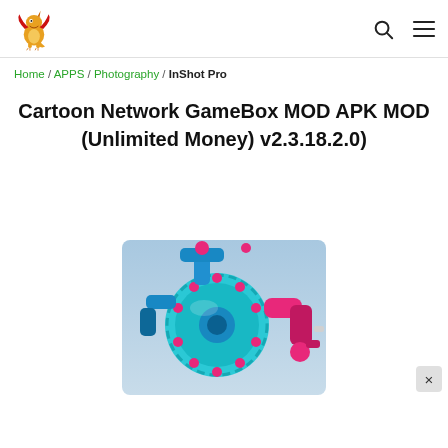Site header with dragon logo, search icon, and hamburger menu
Home / APPS / Photography / InShot Pro
Cartoon Network GameBox MOD APK MOD (Unlimited Money) v2.3.18.2.0)
[Figure (screenshot): Screenshot of a cartoon-style game graphic showing a mechanical robot/device with cyan and magenta/pink colors against a blue-grey background.]